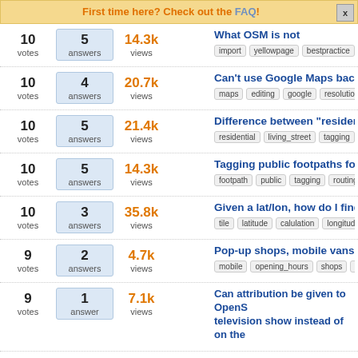First time here? Check out the FAQ!
What OSM is not
Can't use Google Maps background
Difference between "residential" a
Tagging public footpaths for routi
Given a lat/lon, how do I find the p
Pop-up shops, mobile vans - how
Can attribution be given to OpenS... television show instead of on the